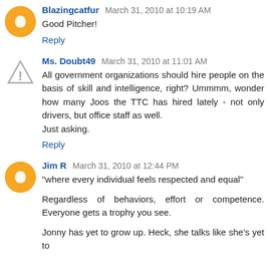Blazingcatfur March 31, 2010 at 10:19 AM
Good Pitcher!
Reply
Ms. Doubt49 March 31, 2010 at 11:01 AM
All government organizations should hire people on the basis of skill and intelligence, right? Ummmm, wonder how many Joos the TTC has hired lately - not only drivers, but office staff as well.
Just asking.
Reply
Jim R March 31, 2010 at 12:44 PM
"where every individual feels respected and equal"
Regardless of behaviors, effort or competence. Everyone gets a trophy you see.
Jonny has yet to grow up. Heck, she talks like she's yet to